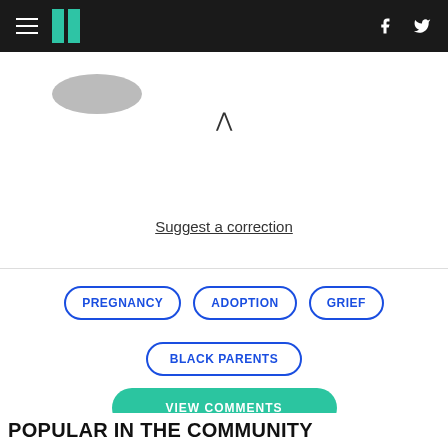HuffPost navigation bar with hamburger menu, logo, facebook and twitter icons
Suggest a correction
PREGNANCY
ADOPTION
GRIEF
BLACK PARENTS
VIEW COMMENTS
POPULAR IN THE COMMUNITY